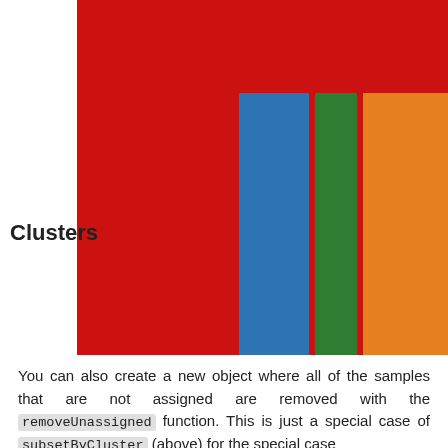[Figure (bar-chart): Horizontal bar chart showing cluster bars in red, blue, green, and orange. The red bar is tallest, followed by blue, green, and orange. A label 'Clusters' appears on the left side of the chart.]
You can also create a new object where all of the samples that are not assigned are removed with the removeUnassigned function. This is just a special case of subsetByCluster (above) for the special case